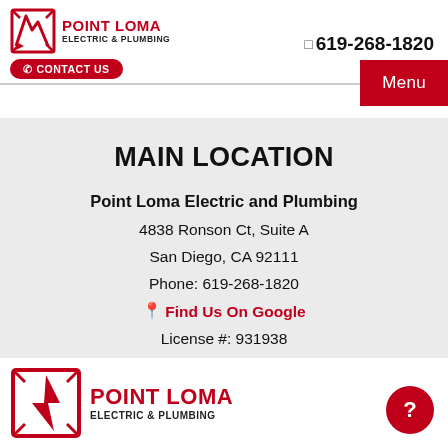Point Loma Electric & Plumbing | 619-268-1820 | CONTACT US | Menu
MAIN LOCATION
Point Loma Electric and Plumbing
4838 Ronson Ct, Suite A
San Diego, CA 92111
Phone: 619-268-1820
Find Us On Google
License #: 931938
[Figure (logo): Point Loma Electric & Plumbing logo at bottom of page]